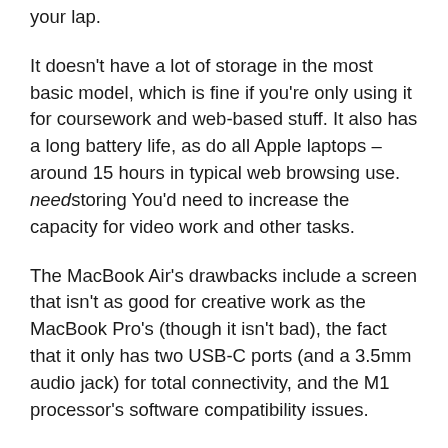your lap.
It doesn't have a lot of storage in the most basic model, which is fine if you're only using it for coursework and web-based stuff. It also has a long battery life, as do all Apple laptops – around 15 hours in typical web browsing use. needstoring You'd need to increase the capacity for video work and other tasks.
The MacBook Air's drawbacks include a screen that isn't as good for creative work as the MacBook Pro's (though it isn't bad), the fact that it only has two USB-C ports (and a 3.5mm audio jack) for total connectivity, and the M1 processor's software compatibility issues.
Because the M1 processor is built differently